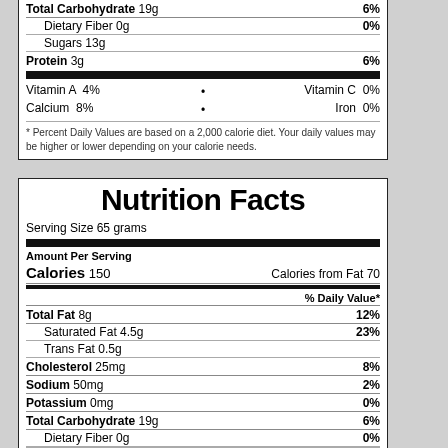Total Carbohydrate 19g  6%
Dietary Fiber 0g  0%
Sugars 13g
Protein 3g  6%
Vitamin A 4%  •  Vitamin C 0%
Calcium 8%  •  Iron 0%
* Percent Daily Values are based on a 2,000 calorie diet. Your daily values may be higher or lower depending on your calorie needs.
Nutrition Facts
Serving Size 65 grams
Amount Per Serving
Calories 150  Calories from Fat 70
% Daily Value*
Total Fat 8g  12%
Saturated Fat 4.5g  23%
Trans Fat 0.5g
Cholesterol 25mg  8%
Sodium 50mg  2%
Potassium 0mg  0%
Total Carbohydrate 19g  6%
Dietary Fiber 0g  0%
Sugars 13g